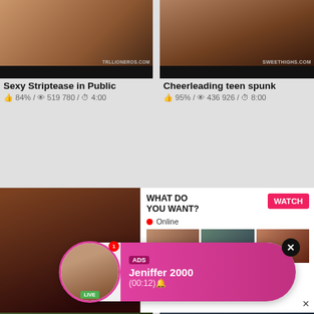[Figure (photo): Thumbnail for Sexy Striptease in Public video, top left]
Sexy Striptease in Public
84% / 519 780 / 4:00
[Figure (photo): Thumbnail for Cheerleading teen spunk video, top right]
Cheerleading teen spunk
95% / 436 926 / 8:00
[Figure (photo): Mid-left video thumbnail with watermark 91-xxx and avseesee.com]
[Figure (photo): Mid-right video thumbnail with watermark]
Fuck
99
[Figure (photo): ADS popup overlay with Jeniffer 2000 profile, LIVE badge, pink gradient background]
ADS
Jeniffer 2000
(00:12)🔔
[Figure (photo): Large explicit photo popup on left side]
[Figure (photo): WHAT DO YOU WANT ad panel with WATCH button, Online status, mini thumbnails, Cumming ass fucking squirt or... text]
WHAT DO YOU WANT?
WATCH
• Online
Cumming, ass fucking, squirt or...
• ADS